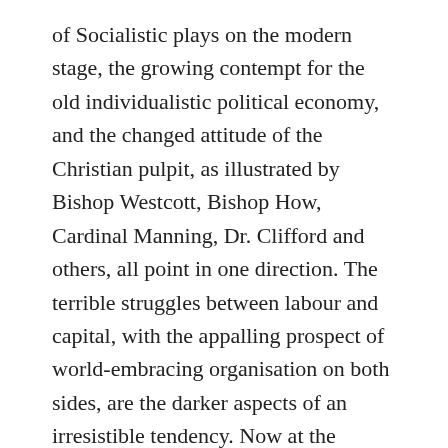of Socialistic plays on the modern stage, the growing contempt for the old individualistic political economy, and the changed attitude of the Christian pulpit, as illustrated by Bishop Westcott, Bishop How, Cardinal Manning, Dr. Clifford and others, all point in one direction. The terrible struggles between labour and capital, with the appalling prospect of world-embracing organisation on both sides, are the darker aspects of an irresistible tendency. Now at the bottom of all this ferment of the public mind, which in some directions has worked calamitous